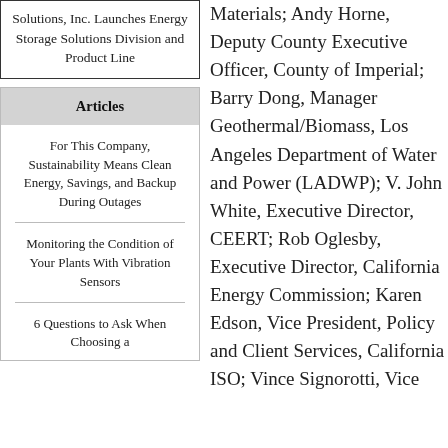Solutions, Inc. Launches Energy Storage Solutions Division and Product Line
Articles
For This Company, Sustainability Means Clean Energy, Savings, and Backup During Outages
Monitoring the Condition of Your Plants With Vibration Sensors
6 Questions to Ask When Choosing a
Materials; Andy Horne, Deputy County Executive Officer, County of Imperial; Barry Dong, Manager Geothermal/Biomass, Los Angeles Department of Water and Power (LADWP); V. John White, Executive Director, CEERT; Rob Oglesby, Executive Director, California Energy Commission; Karen Edson, Vice President, Policy and Client Services, California ISO; Vince Signorotti, Vice